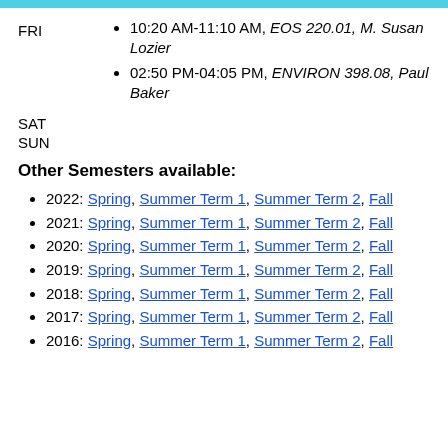FRI: 10:20 AM-11:10 AM, EOS 220.01, M. Susan Lozier; 02:50 PM-04:05 PM, ENVIRON 398.08, Paul Baker
SAT
SUN
Other Semesters available:
2022: Spring, Summer Term 1, Summer Term 2, Fall
2021: Spring, Summer Term 1, Summer Term 2, Fall
2020: Spring, Summer Term 1, Summer Term 2, Fall
2019: Spring, Summer Term 1, Summer Term 2, Fall
2018: Spring, Summer Term 1, Summer Term 2, Fall
2017: Spring, Summer Term 1, Summer Term 2, Fall
2016: Spring, Summer Term 1, Summer Term 2, Fall